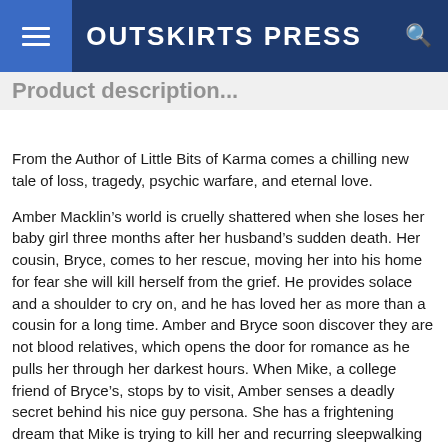OUTSKIRTS PRESS
Product description...
From the Author of Little Bits of Karma comes a chilling new tale of loss, tragedy, psychic warfare, and eternal love.
Amber Macklin’s world is cruelly shattered when she loses her baby girl three months after her husband’s sudden death. Her cousin, Bryce, comes to her rescue, moving her into his home for fear she will kill herself from the grief. He provides solace and a shoulder to cry on, and he has loved her as more than a cousin for a long time. Amber and Bryce soon discover they are not blood relatives, which opens the door for romance as he pulls her through her darkest hours. When Mike, a college friend of Bryce’s, stops by to visit, Amber senses a deadly secret behind his nice guy persona. She has a frightening dream that Mike is trying to kill her and recurring sleepwalking episodes where she draws detailed pictures of him torturing her. Deeply troubled, Bryce uses his ability to